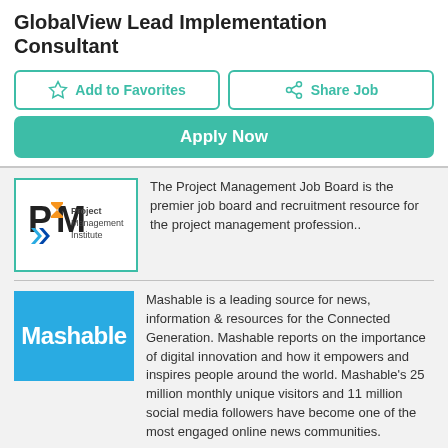GlobalView Lead Implementation Consultant
Add to Favorites
Share Job
Apply Now
[Figure (logo): Project Management Institute logo with PMI text and orange/blue icons]
The Project Management Job Board is the premier job board and recruitment resource for the project management profession..
[Figure (logo): Mashable logo — white bold text on blue background]
Mashable is a leading source for news, information & resources for the Connected Generation. Mashable reports on the importance of digital innovation and how it empowers and inspires people around the world. Mashable's 25 million monthly unique visitors and 11 million social media followers have become one of the most engaged online news communities.
[Figure (logo): T&D World logo — teal circle with globe icon and T&DWorld text]
T&D World Job Center is dedicated to